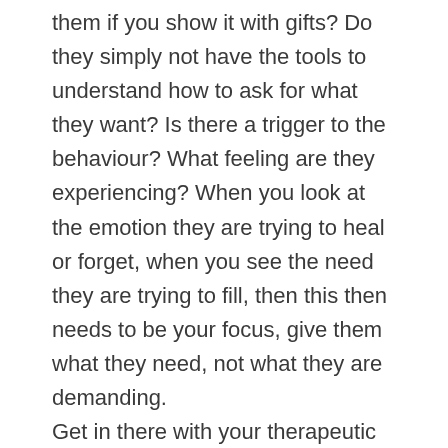them if you show it with gifts? Do they simply not have the tools to understand how to ask for what they want? Is there a trigger to the behaviour? What feeling are they experiencing? When you look at the emotion they are trying to heal or forget, when you see the need they are trying to fill, then this then needs to be your focus, give them what they need, not what they are demanding. Get in there with your therapeutic parenting and use of PACE. Fill the needs of the child, build a healthy attachment. There are things you can do to stop this negative cycle of behaviour once you